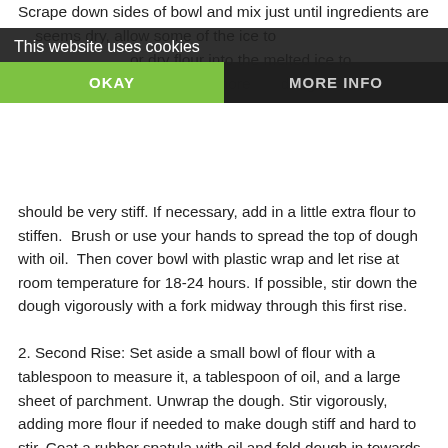Scrape down sides of bowl and mix just until ingredients are ... seems dry, allow some of the ice to ... or dry flour into the melted ice to ... and adding more ... dough should be very stiff. If necessary, add in a little extra flour to stiffen. Brush or use your hands to spread the top of dough with oil. Then cover bowl with plastic wrap and let rise at room temperature for 18-24 hours. If possible, stir down the dough vigorously with a fork midway through this first rise.
2. Second Rise: Set aside a small bowl of flour with a tablespoon to measure it, a tablespoon of oil, and a large sheet of parchment. Unwrap the dough. Stir vigorously, adding more flour if needed to make dough stiff and hard to stir. Coat a rubber spatula with oil and fold dough in towards the center until you have worked your way all around the bowl. (This helps shape the loaf.) Let dough rest for 10 minutes. Turn dough over so the underside is up. Sprinkle with (no more than) 3-4 tablespoons of flour. Inside the bowl, roll dough into a ball, coating all sides with flour. Use the palm of your hand to push the flour into the dough until it holds its shape. To form a